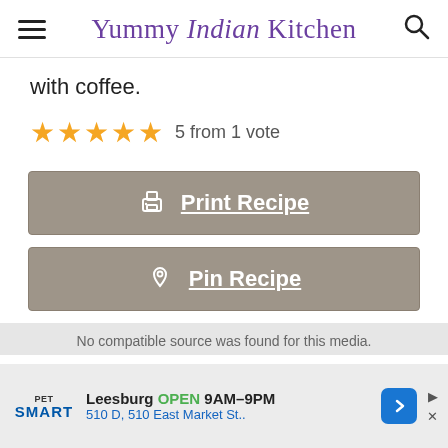Yummy Indian Kitchen
with coffee.
5 from 1 vote
Print Recipe
Pin Recipe
No compatible source was found for this media.
[Figure (screenshot): Advertisement banner for PetSmart showing Leesburg store OPEN 9AM-9PM, 510 D, 510 East Market St.]